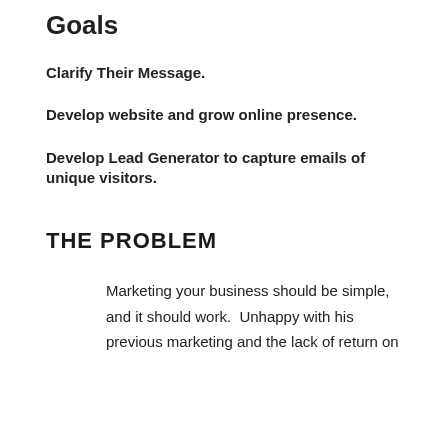Goals
Clarify Their Message.
Develop website and grow online presence.
Develop Lead Generator to capture emails of unique visitors.
THE PROBLEM
Marketing your business should be simple, and it should work.  Unhappy with his previous marketing and the lack of return on